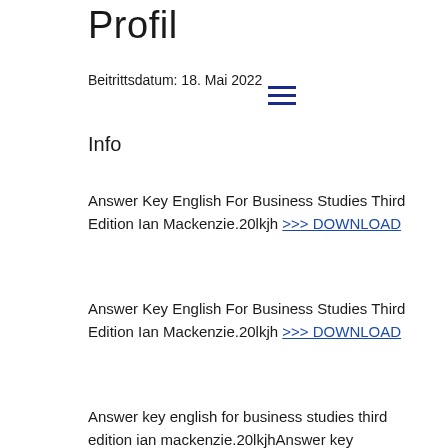Profil
Beitrittsdatum: 18. Mai 2022
Info
Answer Key English For Business Studies Third Edition Ian Mackenzie.20lkjh >>> DOWNLOAD
Answer Key English For Business Studies Third Edition Ian Mackenzie.20lkjh >>> DOWNLOAD
Answer key english for business studies third edition ian mackenzie.20lkjhAnswer key